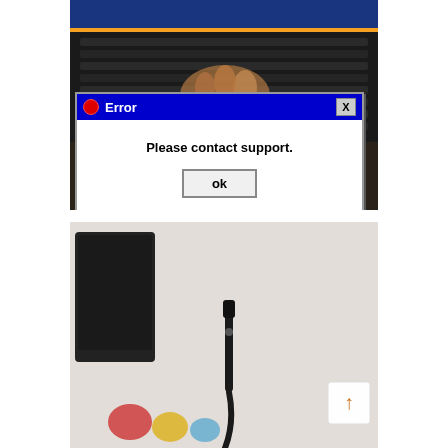[Figure (photo): Photo of hands typing on a keyboard with a dark blurred background, overlaid with a Windows-style error dialog box showing 'Error' title bar in blue with a red dot and X button, body text 'Please contact support.' and an 'ok' button]
[Figure (photo): Photo of a computer monitor and a USB cable or microphone on a blurred light background with colorful objects. A white scroll-to-top button with an orange upward arrow is visible in the lower right.]